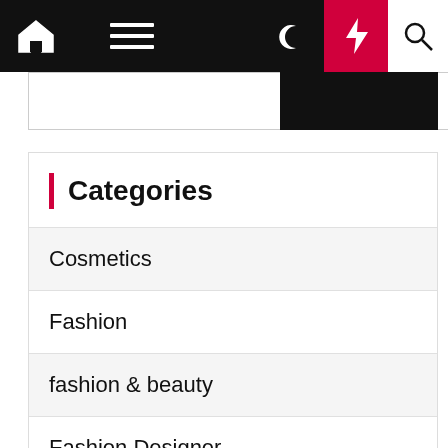Navigation bar with home, menu, moon, bolt, and search icons
Categories
Cosmetics
Fashion
fashion & beauty
Fashion Designer
Fashion Ideas
Fashion News
HEALTH